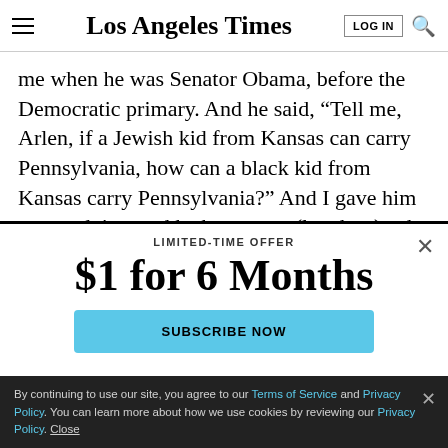Los Angeles Times
me when he was Senator Obama, before the Democratic primary. And he said, “Tell me, Arlen, if a Jewish kid from Kansas can carry Pennsylvania, how can a black kid from Kansas carry Pennsylvania?” And I gave him some advice, and he became -- (laughter) -- he became
LIMITED-TIME OFFER
$1 for 6 Months
SUBSCRIBE NOW
By continuing to use our site, you agree to our Terms of Service and Privacy Policy. You can learn more about how we use cookies by reviewing our Privacy Policy. Close